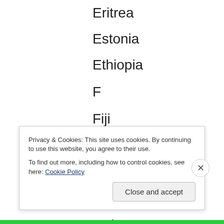Eritrea
Estonia
Ethiopia
F
Fiji
Finland
France
G
Gabon
Gambia
Georgia
Privacy & Cookies: This site uses cookies. By continuing to use this website, you agree to their use.
To find out more, including how to control cookies, see here: Cookie Policy